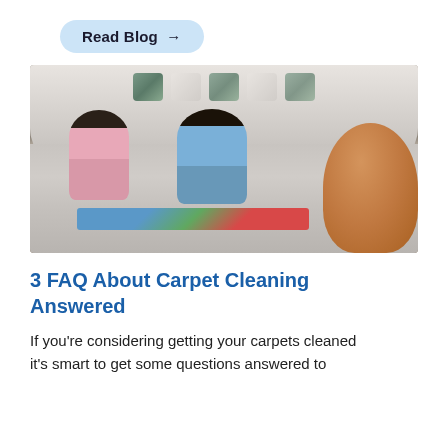Read Blog →
[Figure (photo): Two children (a girl in pink and a boy in blue) lying on a carpeted floor playing a board game, with a white curved sofa behind them and a large stuffed teddy bear in the foreground right.]
3 FAQ About Carpet Cleaning Answered
If you're considering getting your carpets cleaned it's smart to get some questions answered to